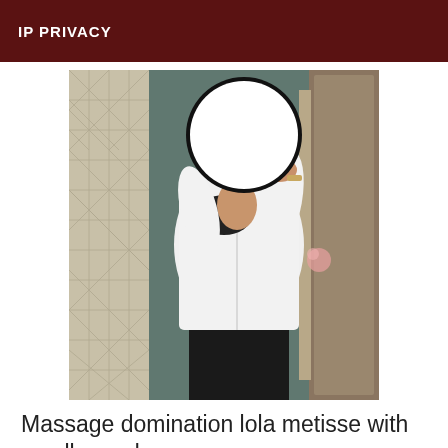IP PRIVACY
[Figure (photo): A person in a white button-up shirt and black pants/bra, with their face obscured by a large white circle, photographed in a mirror selfie style.]
Massage domination lola metisse with small roundnesses